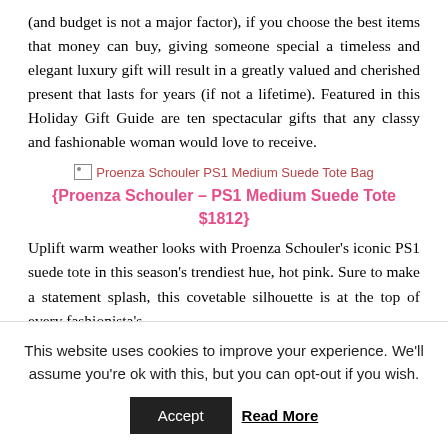(and budget is not a major factor), if you choose the best items that money can buy, giving someone special a timeless and elegant luxury gift will result in a greatly valued and cherished present that lasts for years (if not a lifetime). Featured in this Holiday Gift Guide are ten spectacular gifts that any classy and fashionable woman would love to receive.
[Figure (photo): Broken image placeholder for Proenza Schouler PS1 Medium Suede Tote Bag]
{Proenza Schouler – PS1 Medium Suede Tote $1812}
Uplift warm weather looks with Proenza Schouler's iconic PS1 suede tote in this season's trendiest hue, hot pink. Sure to make a statement splash, this covetable silhouette is at the top of every fashionista's
This website uses cookies to improve your experience. We'll assume you're ok with this, but you can opt-out if you wish.